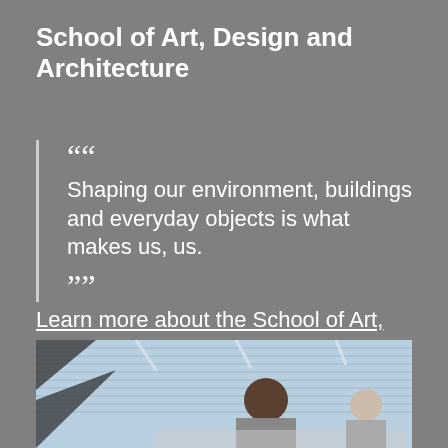School of Art, Design and Architecture
““ Shaping our environment, buildings and everyday objects is what makes us, us. ””
Learn more about the School of Art, Design and Architecture
[Figure (photo): People working at desks in a modern studio or office environment with large windows and bright lighting]